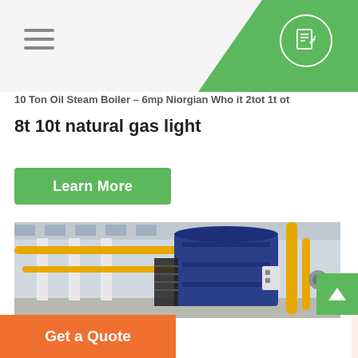Navigation header with hamburger menu and document icon
10 Ton Oil Steam Boiler – 6mp Niorgian Who it 2tot 1t ot 8t 10t natural gas light
Learn More
[Figure (photo): Industrial boiler facility interior showing large blue boiler unit with yellow gas pipes, metal staircases and industrial infrastructure]
Get a Quote
WhatsApp